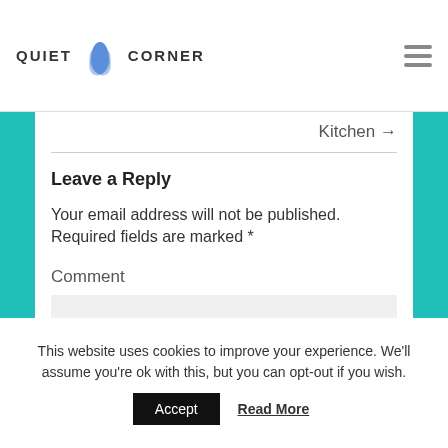QUIET CORNER
Kitchen →
Leave a Reply
Your email address will not be published. Required fields are marked *
Comment
This website uses cookies to improve your experience. We'll assume you're ok with this, but you can opt-out if you wish.